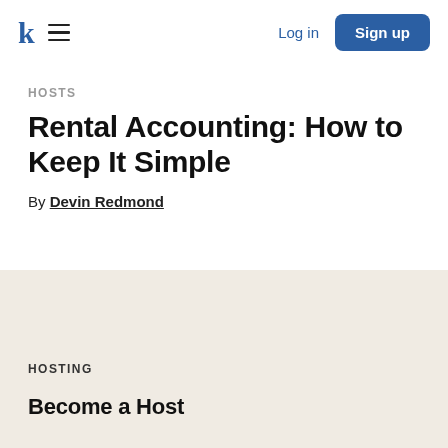k ≡   Log in   Sign up
HOSTS
Rental Accounting: How to Keep It Simple
By Devin Redmond
HOSTING
Become a Host